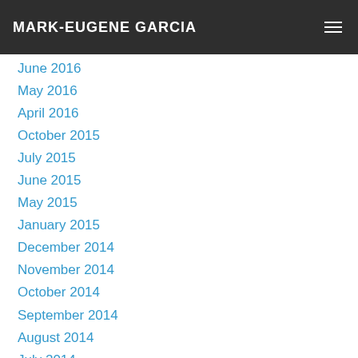MARK-EUGENE GARCIA
June 2016
May 2016
April 2016
October 2015
July 2015
June 2015
May 2015
January 2015
December 2014
November 2014
October 2014
September 2014
August 2014
July 2014
May 2014
March 2014
December 2013